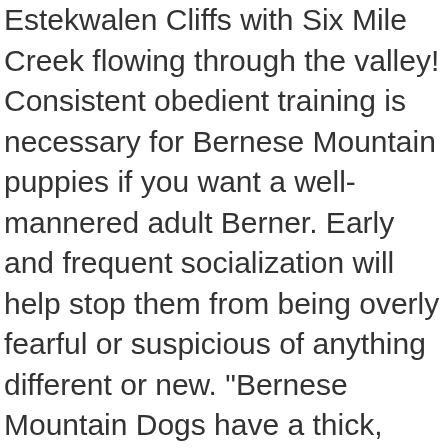Estekwalen Cliffs with Six Mile Creek flowing through the valley! Consistent obedient training is necessary for Bernese Mountain puppies if you want a well-mannered adult Berner. Early and frequent socialization will help stop them from being overly fearful or suspicious of anything different or new. "Bernese Mountain Dogs have a thick, moderately long double coat that can be straight or slightly wavy. Regular Grooming: Bernese Mountain Dogs have a double coat and they shed quite a bit. They're happy-go-lucky dogs with an eagerness to please. You can also have them participate in drafting and carting competitions. They have webbed toes, specially designed to facilitate fast swimming. The Bernese Mountain Dog is slightly longer than it is tall. Hence, it's more than a reflection of their intelligence. The Burmese Mountain Dog is quite often taken to be the Bernese Mountain Dog, a Swiss farm dog. They require weekly brushing and occasional grooming, 11. The Lundehund is a rare breed, so rare it has little genetic diversity. Because Bernese mountain dogs are